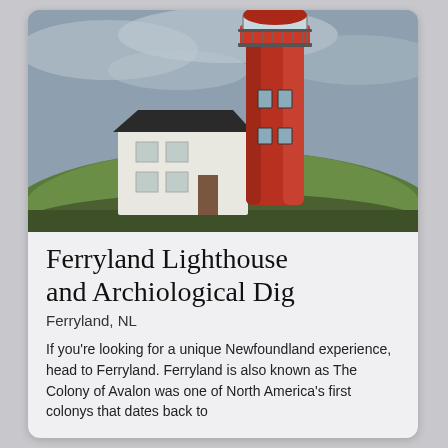[Figure (photo): Photograph of Ferryland Lighthouse, a tall red cylindrical lighthouse tower next to a white building with a dark roof, situated on a rocky green hill against a cloudy sky.]
Ferryland Lighthouse and Archiological Dig
Ferryland, NL
If you're looking for a unique Newfoundland experience, head to Ferryland. Ferryland is also known as The Colony of Avalon was one of North America's first colonys that dates back to